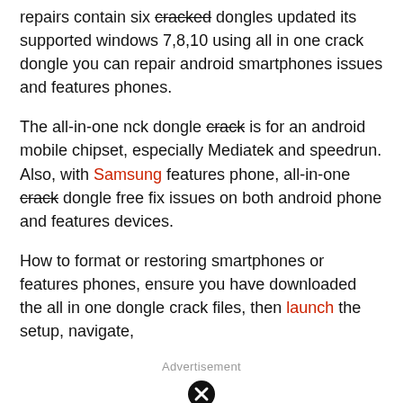repairs contain six cracked dongles updated its supported windows 7,8,10 using all in one crack dongle you can repair android smartphones issues and features phones.
The all-in-one nck dongle crack is for an android mobile chipset, especially Mediatek and speedrun. Also, with Samsung features phone, all-in-one crack dongle free fix issues on both android phone and features devices.
How to format or restoring smartphones or features phones, ensure you have downloaded the all in one dongle crack files, then launch the setup, navigate,
Advertisement
[Figure (other): Close/X button for advertisement — black circle with white X]
S, elect the MTK V5.1316.01 the tool is working on all mobile phone features, main features, Factory reset, Read user lock code, password reset, write firmware flash file, and more.